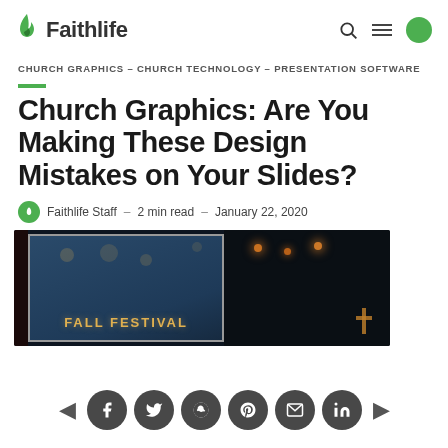Faithlife
CHURCH GRAPHICS – CHURCH TECHNOLOGY – PRESENTATION SOFTWARE
Church Graphics: Are You Making These Design Mistakes on Your Slides?
Faithlife Staff – 2 min read – January 22, 2020
[Figure (photo): Church stage with a projection screen showing 'FALL FESTIVAL' text, stage lights visible on the right side of the dark auditorium]
Social share buttons: Facebook, Twitter, Reddit, Pinterest, Email, LinkedIn